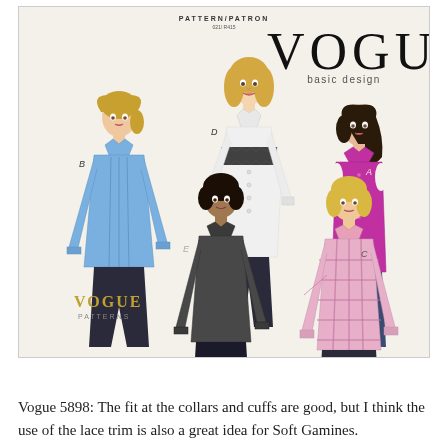[Figure (illustration): Vogue Patterns 5898 sewing pattern envelope showing five fashion illustrations of women wearing different versions of a button-front blouse/shirt. Views A (pink/magenta sleeveless), B (blue long-sleeve with pleats), C (pink plaid long-sleeve), D (white long-sleeve with lace trim band), E (dark gray/charcoal long-sleeve fitted). The Vogue basic design logo appears in the upper right and the Vogue Patterns logo appears at the lower left. Text reads PATTERN/PATRON at the top center.]
Vogue 5898: The fit at the collars and cuffs are good, but I think the use of the lace trim is also a great idea for Soft Gamines.